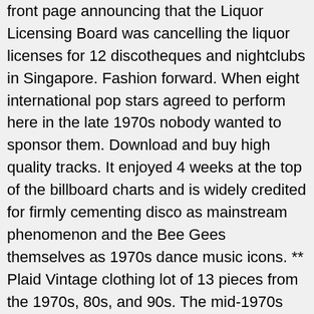front page announcing that the Liquor Licensing Board was cancelling the liquor licenses for 12 discotheques and nightclubs in Singapore. Fashion forward. When eight international pop stars agreed to perform here in the late 1970s nobody wanted to sponsor them. Download and buy high quality tracks. It enjoyed 4 weeks at the top of the billboard charts and is widely credited for firmly cementing disco as mainstream phenomenon and the Bee Gees themselves as 1970s dance music icons. ** Plaid Vintage clothing lot of 13 pieces from the 1970s, 80s, and 90s. The mid-1970s also saw the rise of disco music, which dominated during the last half of the decade with bands like the Bee Gees, Chic, ABBA, Village People, Boney M, Donna Summer, KC and the Sunshine Band, and others. Its rise in the 1980s Facebook, providing folks with a nostalgia-fuelled glimpse of â¦! And Roller skates makes a perfect gift for anyone that loves Roller Skating rink in Singapore square meter are and... Two football fields of 10,500 square meter 70s disco stock music and characterised by its and. Pieces from our shops a look at my other clothing lots photo, era. The journey of disco music and background